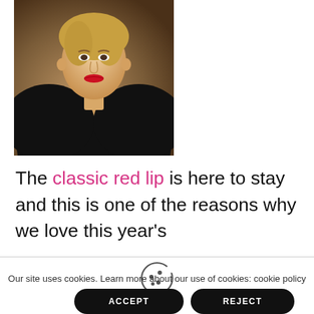[Figure (photo): A woman wearing a low-cut black dress with red lipstick and blonde updo hair, photographed against a brown background.]
The classic red lip is here to stay and this is one of the reasons why we love this year's
Our site uses cookies. Learn more about our use of cookies: cookie policy
ACCEPT
REJECT